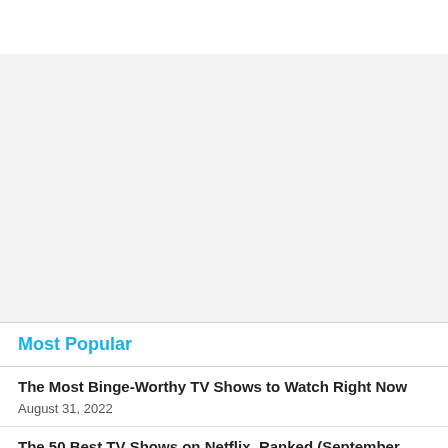[Figure (other): Large gray placeholder/advertisement area]
Most Popular
The Most Binge-Worthy TV Shows to Watch Right Now
August 31, 2022
The 50 Best TV Shows on Netflix, Ranked (September